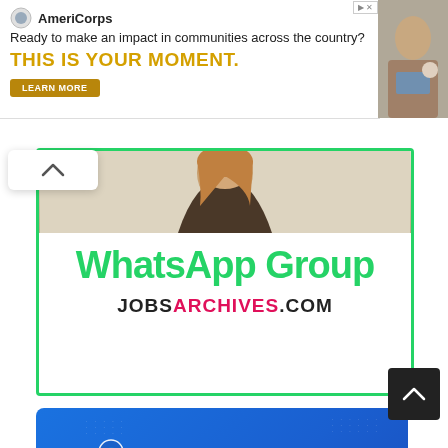[Figure (infographic): AmeriCorps advertisement banner: logo, tagline 'Ready to make an impact in communities across the country?', headline 'THIS IS YOUR MOMENT.', LEARN MORE button, and a photo of people working at computers on the right.]
[Figure (infographic): WhatsApp Group promotional card with green border, woman photo at top, large green 'WhatsApp Group' text, and 'JOBSARCHIVES.COM' branding below.]
[Figure (infographic): Telegram channel promotional banner with blue gradient background, 3D Telegram logo on left, 'Join Us On TELEGRAM' text and '@QuickJobsUpdate' handle button on right.]